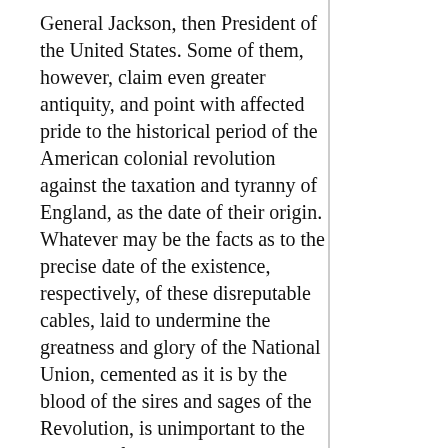General Jackson, then President of the United States. Some of them, however, claim even greater antiquity, and point with affected pride to the historical period of the American colonial revolution against the taxation and tyranny of England, as the date of their origin. Whatever may be the facts as to the precise date of the existence, respectively, of these disreputable cables, laid to undermine the greatness and glory of the National Union, cemented as it is by the blood of the sires and sages of the Revolution, is unimportant to the purpose of the author, while